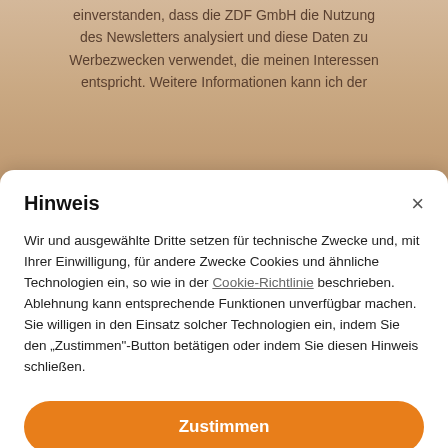einverstanden, dass die ZDF GmbH die Nutzung des Newsletters analysiert und diese Daten zu Werbezwecken verwendet, die meinen Interessen entspricht. Weitere Informationen kann ich der
Hinweis
Wir und ausgewählte Dritte setzen für technische Zwecke und, mit Ihrer Einwilligung, für andere Zwecke Cookies und ähnliche Technologien ein, so wie in der Cookie-Richtlinie beschrieben. Ablehnung kann entsprechende Funktionen unverfügbar machen.
Sie willigen in den Einsatz solcher Technologien ein, indem Sie den „Zustimmen"-Button betätigen oder indem Sie diesen Hinweis schließen.
Zustimmen
Mehr erfahren und anpassen